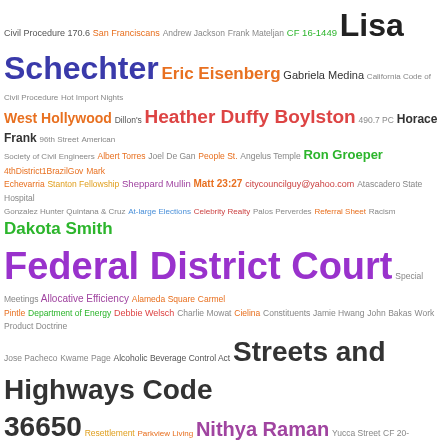[Figure (infographic): Word cloud of legal terms, names, locations, and codes related to Los Angeles city government and California law. Terms vary in size, color, and weight indicating frequency/importance. Includes names like Lisa Schechter, Eric Eisenberg, Nithya Raman, Ted Landreth, Greig Smith, concepts like Federal District Court, Streets and Highways Code 36650, California Downtown Association, Misdemeanors, Bronson Avenue, Immigration and Customs Enforcement, and many others.]